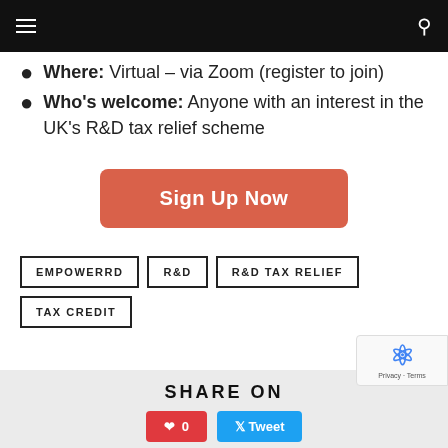Navigation bar
Where: Virtual – via Zoom (register to join)
Who's welcome: Anyone with an interest in the UK's R&D tax relief scheme
Sign Up Now
EMPOWERRD
R&D
R&D TAX RELIEF
TAX CREDIT
SHARE ON